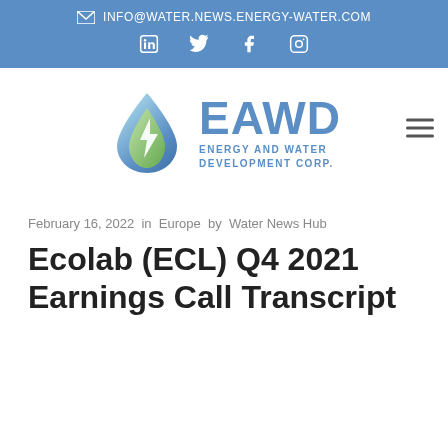INFO@WATER.NEWS.ENERGY-WATER.COM
[Figure (logo): EAWD Energy and Water Development Corp. logo with water drop and lightning bolt icon]
February 16, 2022  in Europe  by Water News Hub
Ecolab (ECL) Q4 2021 Earnings Call Transcript